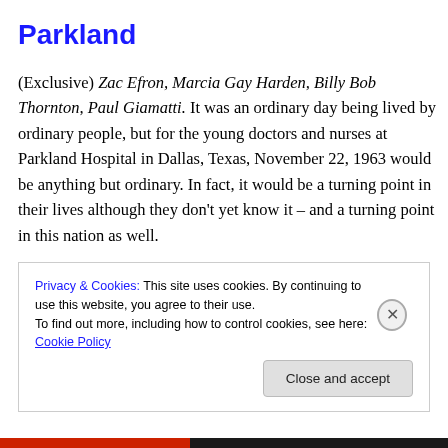Parkland
(Exclusive) Zac Efron, Marcia Gay Harden, Billy Bob Thornton, Paul Giamatti. It was an ordinary day being lived by ordinary people, but for the young doctors and nurses at Parkland Hospital in Dallas, Texas, November 22, 1963 would be anything but ordinary. In fact, it would be a turning point in their lives although they don't yet know it – and a turning point in this nation as well.
Privacy & Cookies: This site uses cookies. By continuing to use this website, you agree to their use. To find out more, including how to control cookies, see here: Cookie Policy
Close and accept